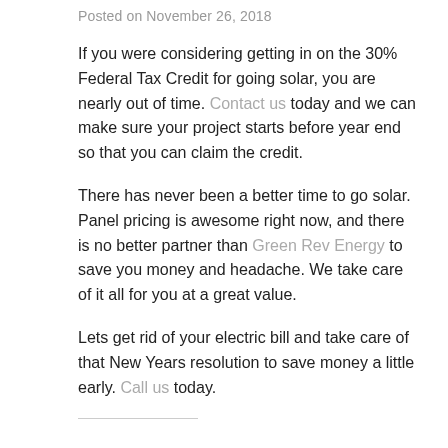Posted on November 26, 2018
If you were considering getting in on the 30% Federal Tax Credit for going solar, you are nearly out of time. Contact us today and we can make sure your project starts before year end so that you can claim the credit.
There has never been a better time to go solar. Panel pricing is awesome right now, and there is no better partner than Green Rev Energy to save you money and headache. We take care of it all for you at a great value.
Lets get rid of your electric bill and take care of that New Years resolution to save money a little early. Call us today.